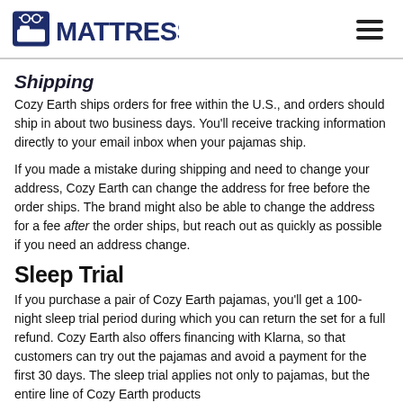Mattress Nerd
Shipping
Cozy Earth ships orders for free within the U.S., and orders should ship in about two business days. You'll receive tracking information directly to your email inbox when your pajamas ship.
If you made a mistake during shipping and need to change your address, Cozy Earth can change the address for free before the order ships. The brand might also be able to change the address for a fee after the order ships, but reach out as quickly as possible if you need an address change.
Sleep Trial
If you purchase a pair of Cozy Earth pajamas, you'll get a 100-night sleep trial period during which you can return the set for a full refund. Cozy Earth also offers financing with Klarna, so that customers can try out the pajamas and avoid a payment for the first 30 days. The sleep trial applies not only to pajamas, but the entire line of Cozy Earth products